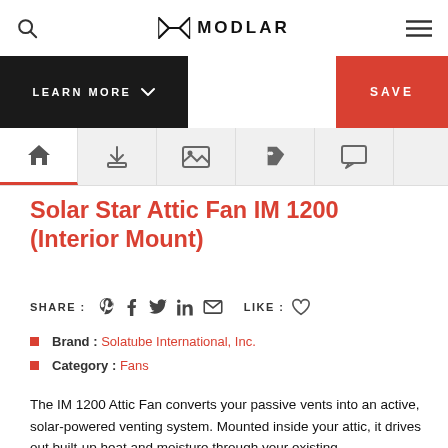MODLAR
[Figure (screenshot): LEARN MORE and SAVE buttons navigation bar]
[Figure (screenshot): Tab navigation bar with home, download, image, tag, and comment icons]
Solar Star Attic Fan IM 1200 (Interior Mount)
SHARE :   LIKE :
Brand : Solatube International, Inc.
Category : Fans
The IM 1200 Attic Fan converts your passive vents into an active, solar-powered venting system. Mounted inside your attic, it drives out built-up heat and moisture through your existing